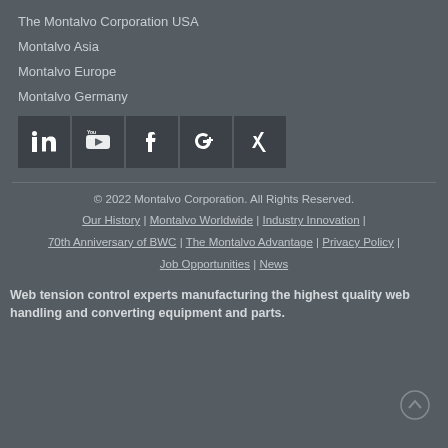The Montalvo Corporation USA
Montalvo Asia
Montalvo Europe
Montalvo Germany
[Figure (illustration): Five social media icons: LinkedIn, YouTube, Facebook, Google+, Xing — dark square buttons with white icons]
© 2022 Montalvo Corporation. All Rights Reserved. Our History | Montalvo Worldwide | Industry Innovation | 70th Anniversary of BWC | The Montalvo Advantage | Privacy Policy | Job Opportunities | News
Web tension control experts manufacturing the highest quality web handling and converting equipment and parts.